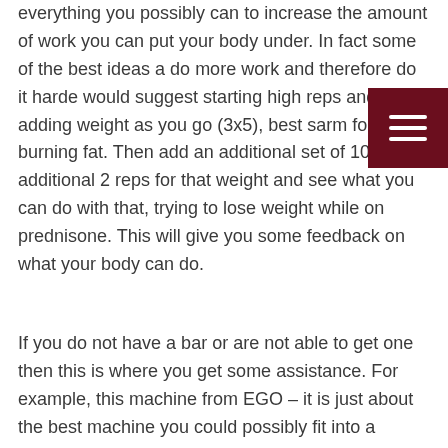everything you possibly can to increase the amount of work you can put your body under. In fact some of the best ideas a do more work and therefore do it harde would suggest starting high reps and adding weight as you go (3x5), best sarm for burning fat. Then add an additional set of 10 or an additional 2 reps for that weight and see what you can do with that, trying to lose weight while on prednisone. This will give you some feedback on what your body can do.
If you do not have a bar or are not able to get one then this is where you get some assistance. For example, this machine from EGO – it is just about the best machine you could possibly fit into a workout gym.
I would highly suggest adding it to your workouts. It is a great way to increase your work capacity – there is no need to go heavy